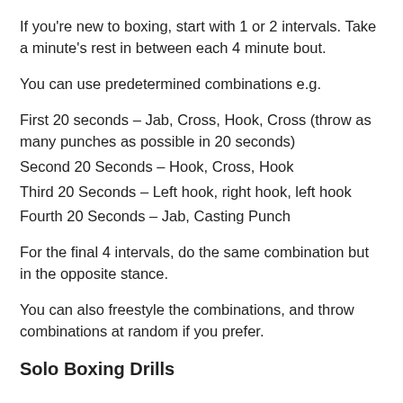If you're new to boxing, start with 1 or 2 intervals. Take a minute's rest in between each 4 minute bout.
You can use predetermined combinations e.g.
First 20 seconds – Jab, Cross, Hook, Cross (throw as many punches as possible in 20 seconds)
Second 20 Seconds – Hook, Cross, Hook
Third 20 Seconds – Left hook, right hook, left hook
Fourth 20 Seconds – Jab, Casting Punch
For the final 4 intervals, do the same combination but in the opposite stance.
You can also freestyle the combinations, and throw combinations at random if you prefer.
Solo Boxing Drills